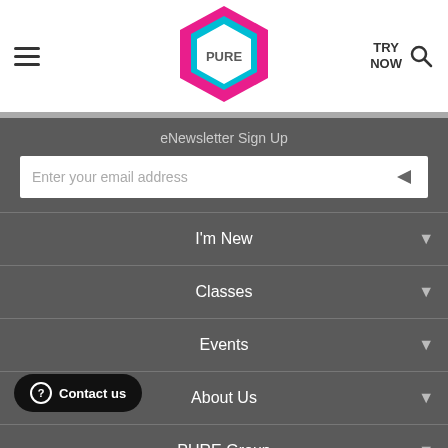PURE — TRY NOW (navigation header with logo)
eNewsletter Sign Up
Enter your email address
I'm New
Classes
Events
About Us
PURE Group
SG | EN
Privacy Policy | Terms and Conditions
© 2022 PURE International. All rights reserved.